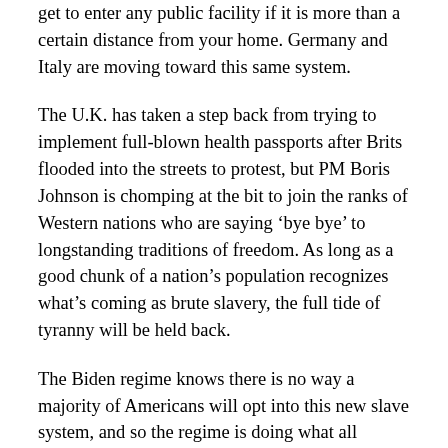get to enter any public facility if it is more than a certain distance from your home. Germany and Italy are moving toward this same system.
The U.K. has taken a step back from trying to implement full-blown health passports after Brits flooded into the streets to protest, but PM Boris Johnson is chomping at the bit to join the ranks of Western nations who are saying ‘bye bye’ to longstanding traditions of freedom. As long as a good chunk of a nation’s population recognizes what’s coming as brute slavery, the full tide of tyranny will be held back.
The Biden regime knows there is no way a majority of Americans will opt into this new slave system, and so the regime is doing what all communist regimes do. They are turning up the heat, causing as much economic and social pain as they can, hoping that at some point they will be able to get a critical mass